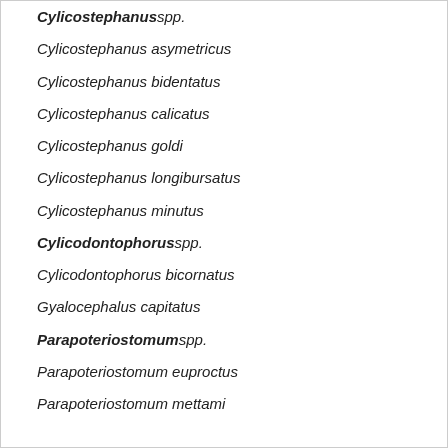Cylicostephanus spp.
Cylicostephanus asymetricus
Cylicostephanus bidentatus
Cylicostephanus calicatus
Cylicostephanus goldi
Cylicostephanus longibursatus
Cylicostephanus minutus
Cylicodontophorus spp.
Cylicodontophorus bicornatus
Gyalocephalus capitatus
Parapoteriostomum spp.
Parapoteriostomum euproctus
Parapoteriostomum mettami